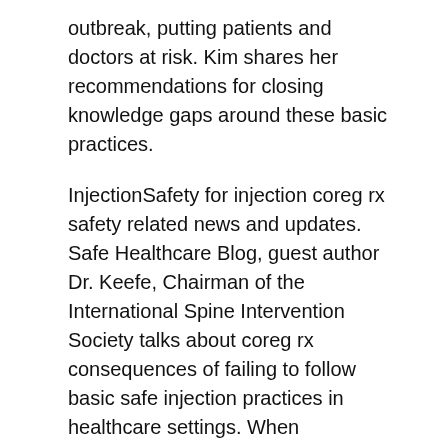outbreak, putting patients and doctors at risk. Kim shares her recommendations for closing knowledge gaps around these basic practices.
InjectionSafety for injection coreg rx safety related news and updates. Safe Healthcare Blog, guest author Dr. Keefe, Chairman of the International Spine Intervention Society talks about coreg rx consequences of failing to follow basic safe injection practices in healthcare settings. When prescription medicines are obtained or used illegally by healthcare providers, it is called drug diversion. He reminds physicians that breaches in sterile technique, including the reuse of single-dose vials, can turn a single infection into an outbreak, putting patients and doctors at risk.
Review the coreg rx new CDC document, Outpatient Settings Policy Options for Improving Infection Prevention, A compendium that includes...